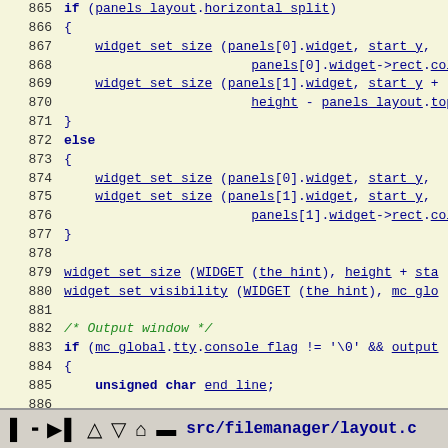[Figure (screenshot): Source code listing from src/filemanager/layout.c, lines 865-891, showing C code with syntax highlighting. Blue underlined identifiers, bold keywords, green italic comments on a pale yellow background.]
⏮ ⏭ ⏫ ⏬ 🏠 ? src/filemanager/layout.c